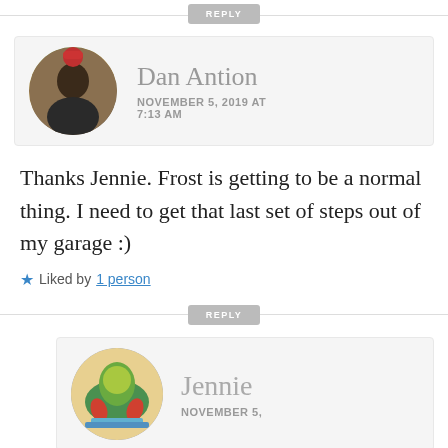REPLY
Dan Antion
NOVEMBER 5, 2019 AT 7:13 AM
Thanks Jennie. Frost is getting to be a normal thing. I need to get that last set of steps out of my garage :)
Liked by 1 person
REPLY
Jennie
NOVEMBER 5,